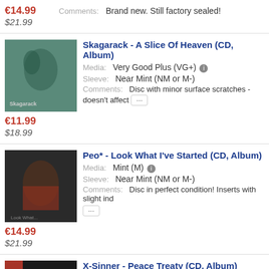€14.99 $21.99   Comments: Brand new. Still factory sealed!
Skagarack - A Slice Of Heaven (CD, Album) Media: Very Good Plus (VG+) Sleeve: Near Mint (NM or M-) Comments: Disc with minor surface scratches - doesn't affect ... €11.99 $18.99
Peo* - Look What I've Started (CD, Album) Media: Mint (M) Sleeve: Near Mint (NM or M-) Comments: Disc in perfect condition! Inserts with slight ind ... €14.99 $21.99
X-Sinner - Peace Treaty (CD, Album) Media: Very Good Plus (VG+) Sleeve: Mint (M)